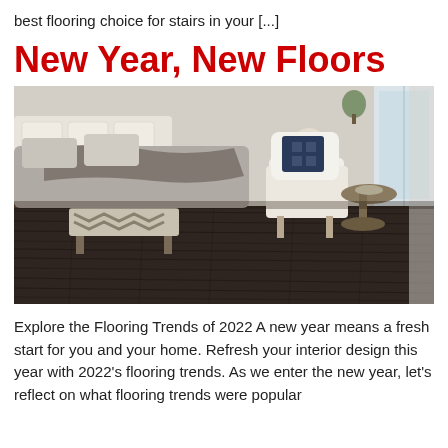best flooring choice for stairs in your [...]
New Year, New Floors
[Figure (photo): Bedroom interior with dark wood plank flooring, a bed with gray bedding and throw blanket, a chevron-patterned bench at the foot of the bed, a white wingback chair with a navy geometric pillow, a round side table, and a tall window with curtains.]
Explore the Flooring Trends of 2022 A new year means a fresh start for you and your home. Refresh your interior design this year with 2022's flooring trends. As we enter the new year, let's reflect on what flooring trends were popular